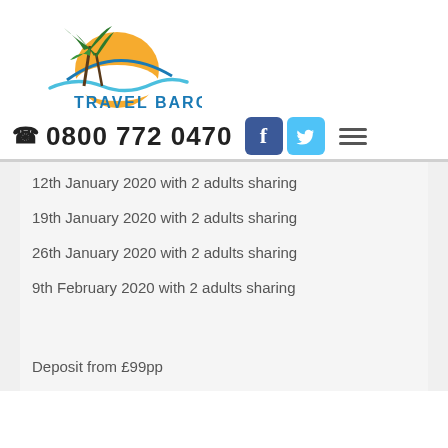[Figure (logo): Travel Bargains logo with palm trees, sun and wave graphic above the text TRAVEL BARGAINS]
0800 772 0470
12th January 2020 with 2 adults sharing
19th January 2020 with 2 adults sharing
26th January 2020 with 2 adults sharing
9th February 2020 with 2 adults sharing
Deposit from £99pp